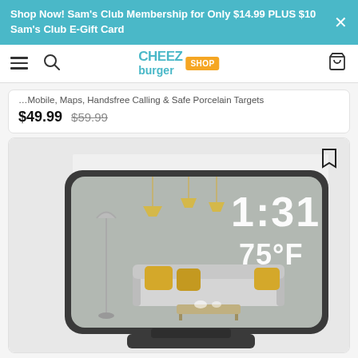Shop Now! Sam's Club Membership for Only $14.99 PLUS $10 Sam's Club E-Gift Card
Cheezburger Shop — navigation bar with hamburger menu, search, logo, and cart
...Mobile, Maps, Handsfree Calling & Safe Porcelain Targets
$49.99  $59.99
[Figure (photo): Mirror alarm clock with dark frame displaying 1:31 and 75°F, reflecting a modern living room interior with sofa, yellow pillows, and pendant lights. Clock is angled on a dark base stand.]